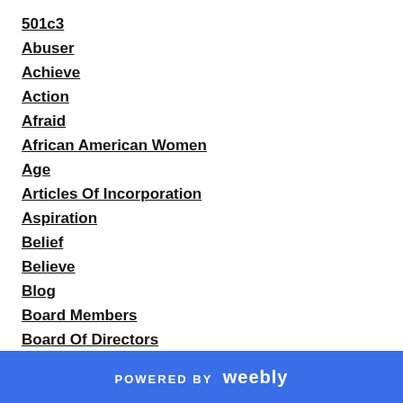501c3
Abuser
Achieve
Action
Afraid
African American Women
Age
Articles Of Incorporation
Aspiration
Belief
Believe
Blog
Board Members
Board Of Directors
Business
Ceo
Chap...
POWERED BY weebly